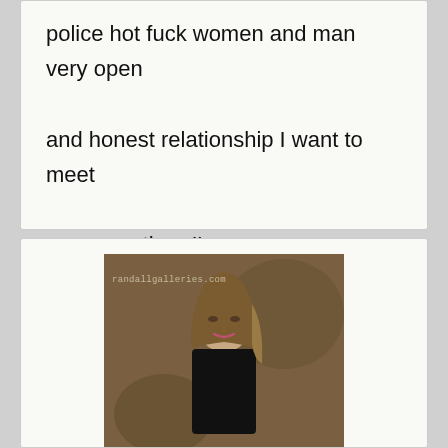police hot fuck women and man very open and honest relationship I want to meet someone then I'm open.
[Figure (photo): Photo of a young woman with long highlighted hair wearing a black top, with watermark 'randallgalleries.com']